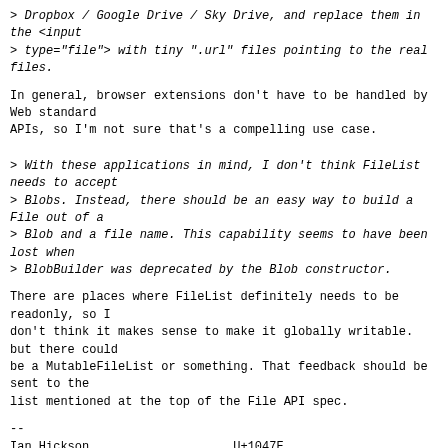> Dropbox / Google Drive / Sky Drive, and replace them in the <input
> type="file"> with tiny ".url" files pointing to the real files.
In general, browser extensions don't have to be handled by Web standard
APIs, so I'm not sure that's a compelling use case.
> With these applications in mind, I don't think FileList needs to accept
> Blobs. Instead, there should be an easy way to build a File out of a
> Blob and a file name. This capability seems to have been lost when
> BlobBuilder was deprecated by the Blob constructor.
There are places where FileList definitely needs to be readonly, so I
don't think it makes sense to make it globally writable. but there could
be a MutableFileList or something. That feedback should be sent to the
list mentioned at the top of the File API spec.
--
Ian Hickson                    U+1047E
)\._.,--.....,-'`'-.          fL
http://ln.hixie.ch/            U+263A                /